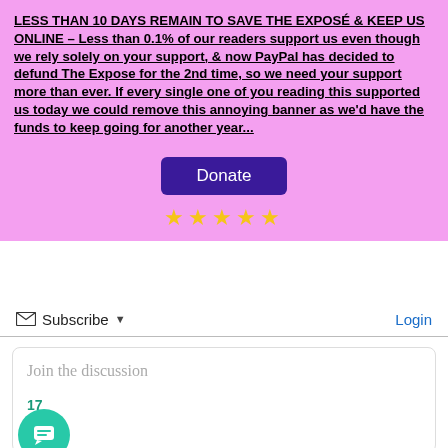LESS THAN 10 DAYS REMAIN TO SAVE THE EXPOSÉ & KEEP US ONLINE – Less than 0.1% of our readers support us even though we rely solely on your support, & now PayPal has decided to defund The Expose for the 2nd time, so we need your support more than ever. If every single one of you reading this supported us today we could remove this annoying banner as we'd have the funds to keep going for another year...
[Figure (other): Purple Donate button]
[Figure (other): Five yellow star rating icons]
Subscribe ▾
Login
Join the discussion
17